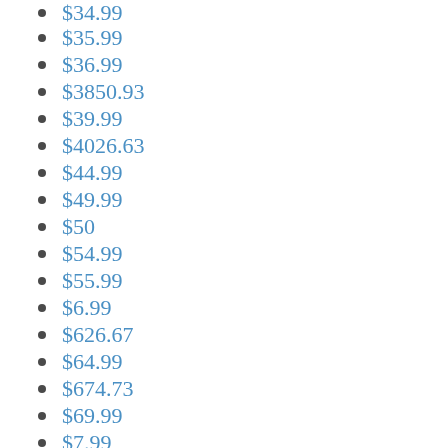$34.99
$35.99
$36.99
$3850.93
$39.99
$4026.63
$44.99
$49.99
$50
$54.99
$55.99
$6.99
$626.67
$64.99
$674.73
$69.99
$7.99